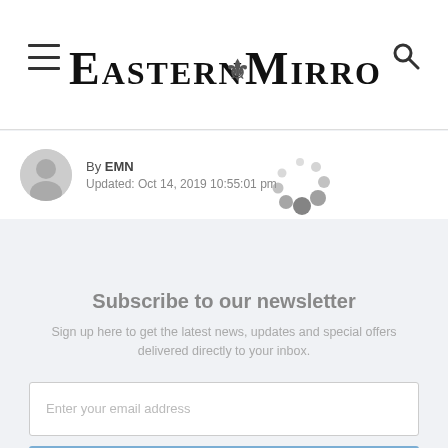Eastern Mirror
By EMN
Updated: Oct 14, 2019 10:55:01 pm
[Figure (other): Loading spinner animation dots in circular arrangement]
Subscribe to our newsletter
Sign up here to get the latest news, updates and special offers delivered directly to your inbox.
Enter your email address